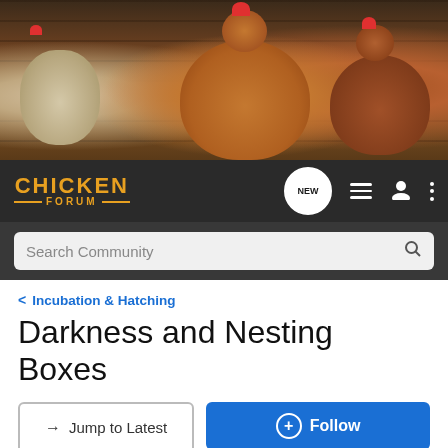[Figure (photo): Header photo of chickens including brown/golden hens and a white chicken against wooden barn background]
CHICKEN FORUM
Search Community
< Incubation & Hatching
Darkness and Nesting Boxes
→ Jump to Latest
+ Follow
1 - 5 of 5 Posts
Keith · Registered
Joined Jun 19, 2012 · 320 Posts